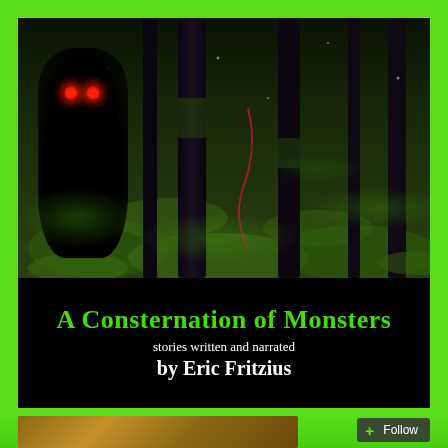[Figure (illustration): Book cover for 'A Consternation of Monsters' — a dark forest scene with mossy green trees and a black shadowy monster figure with glowing red eyes lurking on the left side. The bottom portion has a black background with the title in green and author name in white.]
A Consternation of Monsters
stories written and narrated by Eric Fritzius